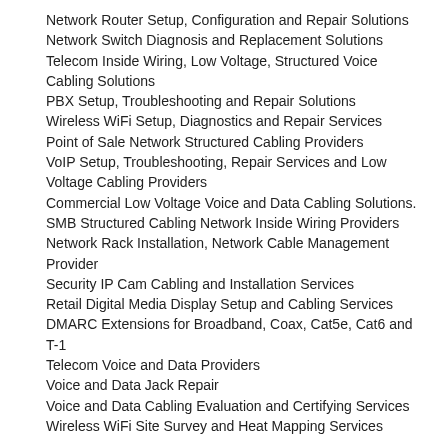Network Router Setup, Configuration and Repair Solutions
Network Switch Diagnosis and Replacement Solutions
Telecom Inside Wiring, Low Voltage, Structured Voice Cabling Solutions
PBX Setup, Troubleshooting and Repair Solutions
Wireless WiFi Setup, Diagnostics and Repair Services
Point of Sale Network Structured Cabling Providers
VoIP Setup, Troubleshooting, Repair Services and Low Voltage Cabling Providers
Commercial Low Voltage Voice and Data Cabling Solutions.
SMB Structured Cabling Network Inside Wiring Providers
Network Rack Installation, Network Cable Management Provider
Security IP Cam Cabling and Installation Services
Retail Digital Media Display Setup and Cabling Services
DMARC Extensions for Broadband, Coax, Cat5e, Cat6 and T-1
Telecom Voice and Data Providers
Voice and Data Jack Repair
Voice and Data Cabling Evaluation and Certifying Services
Wireless WiFi Site Survey and Heat Mapping Services
Kentucky Most Reliable Option for Enterprise Network
Solutions in: